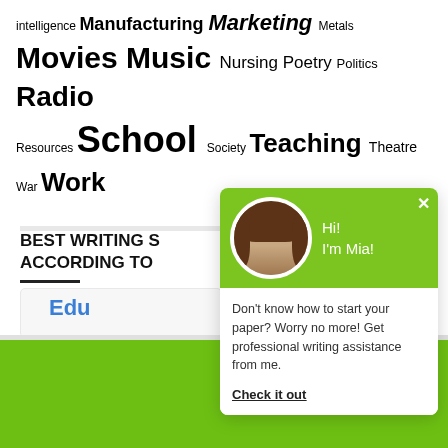intelligence Manufacturing Marketing Metals Movies Music Nursing Poetry Politics Radio Resources School Society Teaching Theatre War Work
[Figure (screenshot): Chat popup overlay with green header showing avatar of woman named Mia, greeting 'Hi! I'm Mia!', body text 'Don't know how to start your paper? Worry no more! Get professional writing assistance from me.', and 'Check it out' link]
BEST WRITING S... ACCORDING TO...
Edu...
Are You on a Short Deadline? Let a Professional W... Help You
HELP ME WITH WRITING